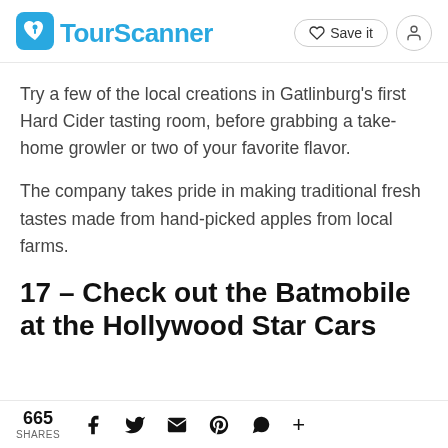TourScanner — Save it
Try a few of the local creations in Gatlinburg's first Hard Cider tasting room, before grabbing a take-home growler or two of your favorite flavor.
The company takes pride in making traditional fresh tastes made from hand-picked apples from local farms.
17 – Check out the Batmobile at the Hollywood Star Cars
665 SHARES